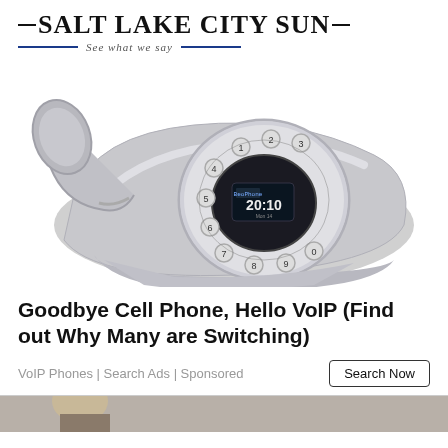Salt Lake City Sun — See what we say
[Figure (photo): A modern retro-styled silver VoIP desk telephone with circular dial pad, numeric buttons, and a digital display screen, shown at an angle on a white background.]
Goodbye Cell Phone, Hello VoIP (Find out Why Many are Switching)
VoIP Phones | Search Ads | Sponsored
[Figure (photo): Partial bottom image showing a person, cropped at the bottom of the page.]